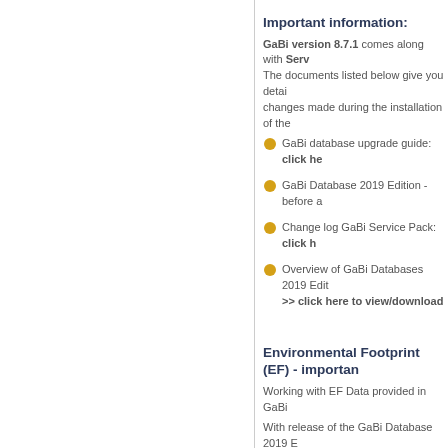Important information:
GaBi version 8.7.1 comes along with Serv... The documents listed below give you detail... changes made during the installation of the...
GaBi database upgrade guide: click he...
GaBi Database 2019 Edition - before a...
Change log GaBi Service Pack: click h...
Overview of GaBi Databases 2019 Edit... >> click here to view/download
Environmental Footprint (EF) - importan...
Working with EF Data provided in GaBi
With release of the GaBi Database 2019 E... are provided as well as the mapping to the... export/import function.
EF 2.0 version is the only one to be used... file.
IMPORTANT NOTE: